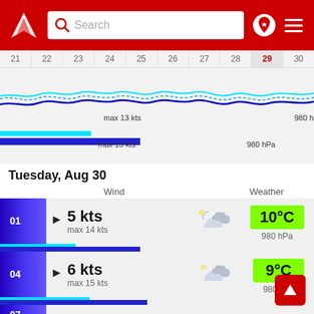[Figure (screenshot): Weather app header with red background, logo, search box, pin and menu icons]
[Figure (line-chart): Wind/pressure chart strip showing days 21-30 with wavy cyan and blue lines, day 29 highlighted, labels 'max 13 kts' and '980 hPa']
Tuesday, Aug 30
Wind   Weather
| Hour | Wind | Max | Icon | Temp | Pressure |
| --- | --- | --- | --- | --- | --- |
| 01 | 5 kts | max 14 kts | partly cloudy night | 10°C | 980 hPa |
| 04 | 6 kts | max 15 kts | partly cloudy night | 9°C | 980 hPa |
| 07 | 5 kts | max 16 kts | overcast | 9°C | 980 hPa |
| 10 | 7 kts |  | overcast | 11°C |  |